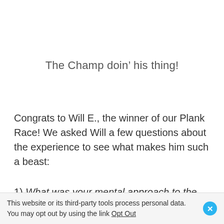The Champ doin’ his thing!
Congrats to Will E., the winner of our Plank Race! We asked Will a few questions about the experience to see what makes him such a beast:
1) What was your mental approach to the plank challenge? Why do you think you were successful at it?
This website or its third-party tools process personal data. You may opt out by using the link Opt Out